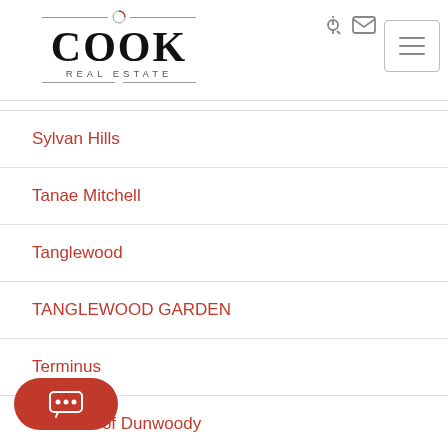[Figure (logo): Cook Real Estate logo with horizontal lines and company name]
Sylvan Hills
Tanae Mitchell
Tanglewood
TANGLEWOOD GARDEN
Terminus
Terraces of Dunwoody
...des